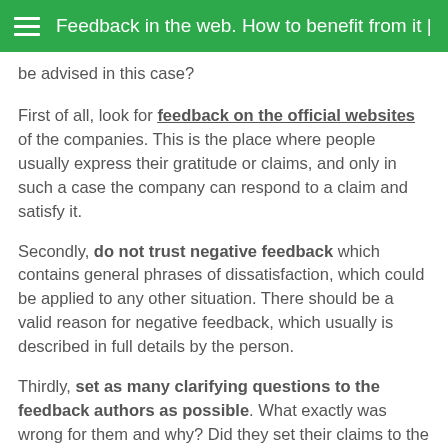Feedback in the web. How to benefit from it | G
be advised in this case?
First of all, look for feedback on the official websites of the companies. This is the place where people usually express their gratitude or claims, and only in such a case the company can respond to a claim and satisfy it.
Secondly, do not trust negative feedback which contains general phrases of dissatisfaction, which could be applied to any other situation. There should be a valid reason for negative feedback, which usually is described in full details by the person.
Thirdly, set as many clarifying questions to the feedback authors as possible. What exactly was wrong for them and why? Did they set their claims to the company and how did it respond? The more questions